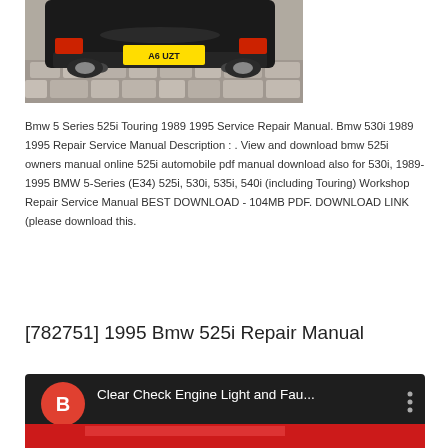[Figure (photo): Rear view of a black BMW car with yellow license plate on cobblestone road]
Bmw 5 Series 525i Touring 1989 1995 Service Repair Manual. Bmw 530i 1989 1995 Repair Service Manual Description : . View and download bmw 525i owners manual online 525i automobile pdf manual download also for 530i, 1989-1995 BMW 5-Series (E34) 525i, 530i, 535i, 540i (including Touring) Workshop Repair Service Manual BEST DOWNLOAD - 104MB PDF. DOWNLOAD LINK (please download this.
[782751] 1995 Bmw 525i Repair Manual
[Figure (screenshot): YouTube video thumbnail showing a red car with title 'Clear Check Engine Light and Fau...' and a red/orange letter B channel icon]